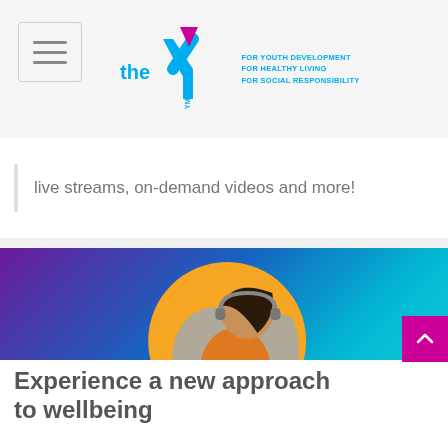YMCA — FOR YOUTH DEVELOPMENT FOR HEALTHY LIVING FOR SOCIAL RESPONSIBILITY
live streams, on-demand videos and more!
[Figure (illustration): Promotional banner showing a woman with headphones sitting in a gray armchair with a laptop, against a teal-blue-purple gradient background with a gold circle behind her and a white arc at the bottom.]
Experience a new approach to wellbeing